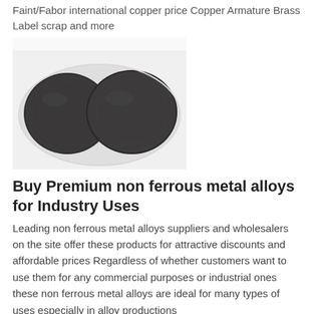Faint/Fabor international copper price Copper Armature Brass Label scrap and more
[Figure (photo): Two circular dark metallic discs (powder or granules) in a white shallow bowl/dish, photographed from above on a white background.]
Buy Premium non ferrous metal alloys for Industry Uses
Leading non ferrous metal alloys suppliers and wholesalers on the site offer these products for attractive discounts and affordable prices Regardless of whether customers want to use them for any commercial purposes or industrial ones these non ferrous metal alloys are ideal for many types of uses especially in alloy productions
[Figure (photo): Small dark metallic pieces/granules scattered on a white plate, partially visible at the bottom of the page.]